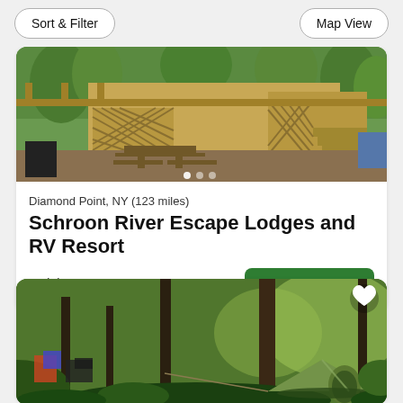Sort & Filter | Map View
[Figure (photo): Outdoor deck area with wooden lattice structures, picnic table, and green trees in background at Schroon River Escape Lodges and RV Resort]
Diamond Point, NY (123 miles)
Schroon River Escape Lodges and RV Resort
Lodging, RVs, Tents
from $49 / night
[Figure (photo): Green dome tent set up in a wooded forest campsite with trees and lush greenery surrounding it, with camping chairs visible in the background]